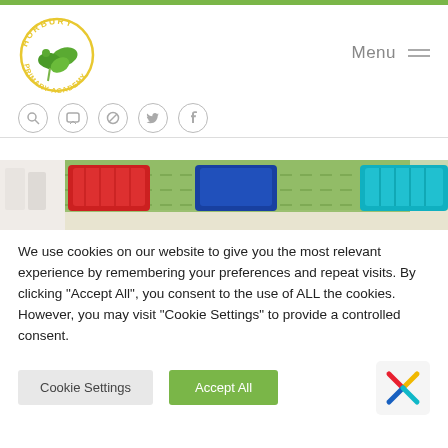[Figure (logo): Horbury Primary Academy circular logo with green leaf/plant design and yellow text]
[Figure (screenshot): Navigation icons row: search, message, accessibility, twitter, facebook circles, and Menu with hamburger icon on right]
[Figure (photo): Photo of colourful plastic baskets (red, blue, cyan) on a shelf against a green background]
We use cookies on our website to give you the most relevant experience by remembering your preferences and repeat visits. By clicking "Accept All", you consent to the use of ALL the cookies. However, you may visit "Cookie Settings" to provide a controlled consent.
[Figure (other): Cookie Settings button (grey) and Accept All button (green), plus a coloured snowflake/asterisk logo icon on the right]